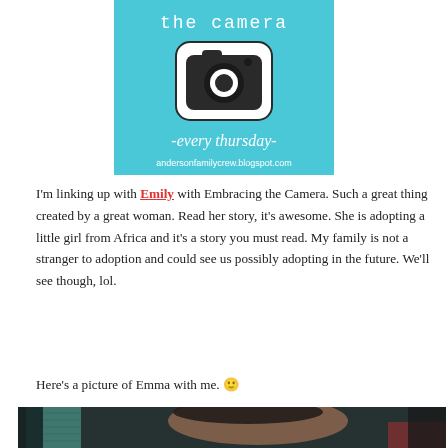[Figure (illustration): Teal/blue banner graphic for 'Embracing the Camera' blog link-up. Shows text 'the camera' at top, a camera icon with rounded square border, script text '-every thursday-' and URL 'andersonfamilycrew.blogspot.com' at bottom.]
I'm linking up with Emily with Embracing the Camera. Such a great thing created by a great woman. Read her story, it's awesome. She is adopting a little girl from Africa and it's a story you must read. My family is not a stranger to adoption and could see us possibly adopting in the future. We'll see though, lol.
Here's a picture of Emma with me. 🙂
[Figure (photo): A dark, moody photograph showing two women. One woman with dark hair is visible, seemingly looking down. Background shows window blinds with teal/green light coming through on the left, dark background on the right with a red element visible.]